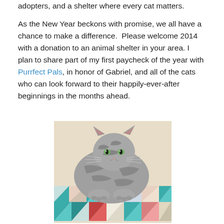adopters, and a shelter where every cat matters.

As the New Year beckons with promise, we all have a chance to make a difference.  Please welcome 2014 with a donation to an animal shelter in your area. I plan to share part of my first paycheck of the year with Purrfect Pals, in honor of Gabriel, and all of the cats who can look forward to their happily-ever-after beginnings in the months ahead.
[Figure (photo): A gray tabby cat sitting on a colorful patchwork quilt, looking directly at the camera with green eyes.]